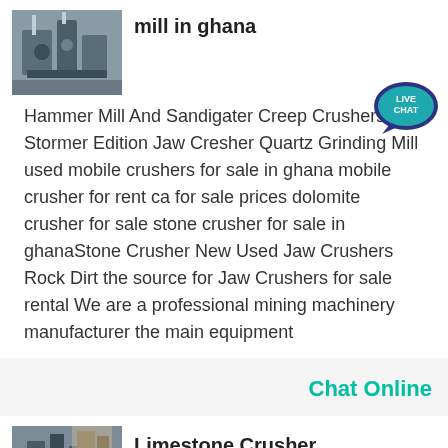mill in ghana
[Figure (photo): Industrial mining/milling machinery photo thumbnail]
[Figure (illustration): Live Chat speech bubble icon in teal/dark blue]
Hammer Mill And Sandigater Creep Crushers Stormer Edition Jaw Cresher Quartz Grinding Mill used mobile crushers for sale in ghana mobile crusher for rent ca for sale prices dolomite crusher for sale stone crusher for sale in ghanaStone Crusher New Used Jaw Crushers Rock Dirt the source for Jaw Crushers for sale rental We are a professional mining machinery manufacturer the main equipment
Chat Online
[Figure (photo): Limestone crusher or quarry equipment photo thumbnail]
Limestone Crusher Machine In Ghana jaw